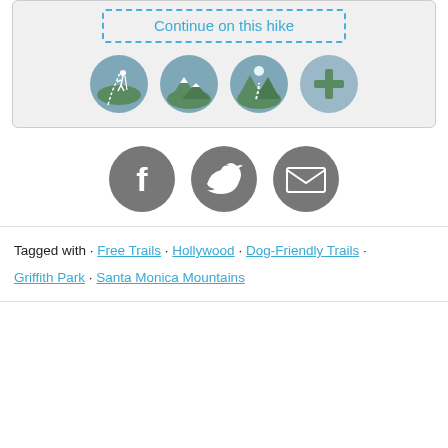[Figure (illustration): Dashed blue border box with text 'Continue on this hike' and four circular hiking activity icons below]
[Figure (illustration): Three gray circular social share icons: Facebook, Twitter, Email]
Tagged with · Free Trails · Hollywood · Dog-Friendly Trails · Griffith Park · Santa Monica Mountains